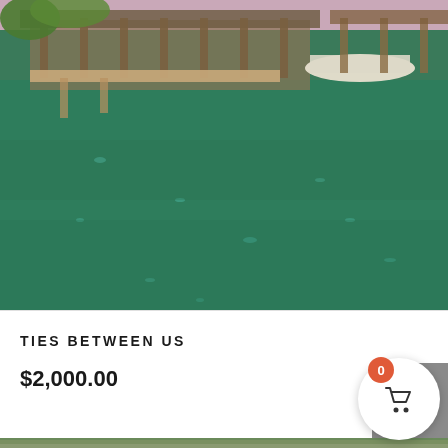[Figure (photo): Painting of a marina or boat dock scene with green water, wooden piers with roofed structures, and boats visible. The water is a rich teal-green color with light reflections.]
TIES BETWEEN US
$2,000.00
[Figure (photo): Painting of a forest landscape with dark conifer trees (pines/spruce) silhouetted against a light blue and white cloudy sky. Warm autumn foliage colors visible at the base.]